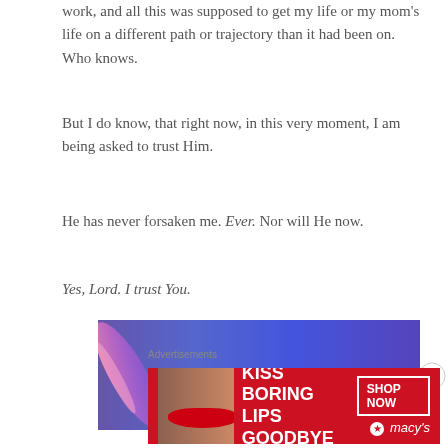work, and all this was supposed to get my life or my mom's life on a different path or trajectory than it had been on. Who knows.
But I do know, that right now, in this very moment, I am being asked to trust Him.
He has never forsaken me. Ever. Nor will He now.
Yes, Lord. I trust You.
[Figure (photo): A blurred purple/blue sky image with a faint colorful light streak on the left side]
Advertisements
[Figure (photo): Macy's lip product advertisement banner: KISS BORING LIPS GOODBYE with a woman's face showing red lips, and SHOP NOW button with Macy's star logo on a red background]